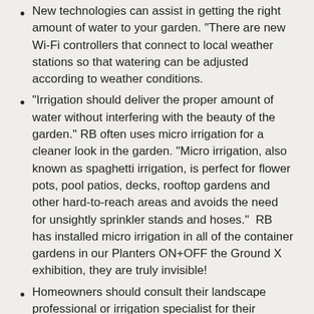New technologies can assist in getting the right amount of water to your garden. "There are new Wi-Fi controllers that connect to local weather stations so that watering can be adjusted according to weather conditions.
"Irrigation should deliver the proper amount of water without interfering with the beauty of the garden." RB often uses micro irrigation for a cleaner look in the garden. "Micro irrigation, also known as spaghetti irrigation, is perfect for flower pots, pool patios, decks, rooftop gardens and other hard-to-reach areas and avoids the need for unsightly sprinkler stands and hoses."  RB has installed micro irrigation in all of the container gardens in our Planters ON+OFF the Ground X exhibition, they are truly invisible!
Homeowners should consult their landscape professional or irrigation specialist for their watering needs, as each garden will have its own individual conditions. RB says that the industry rule of thumb is